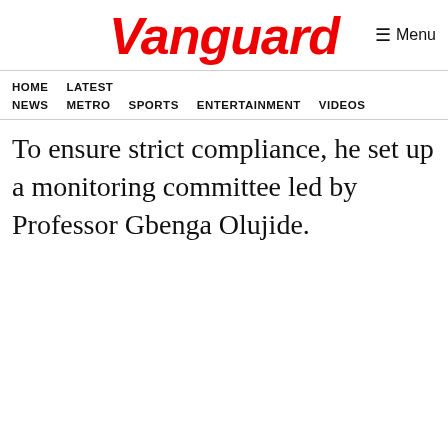Vanguard
HOME  LATEST NEWS  METRO  SPORTS  ENTERTAINMENT  VIDEOS
To ensure strict compliance, he set up a monitoring committee led by Professor Gbenga Olujide.